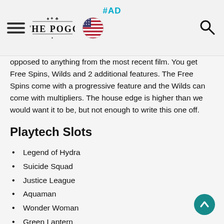#AD | The Pogg | US Flag | Search
opposed to anything from the most recent film. You get Free Spins, Wilds and 2 additional features. The Free Spins come with a progressive feature and the Wilds can come with multipliers. The house edge is higher than we would want it to be, but not enough to write this one off.
Playtech Slots
Legend of Hydra
Suicide Squad
Justice League
Aquaman
Wonder Woman
Green Lantern
Superman Man of Steel